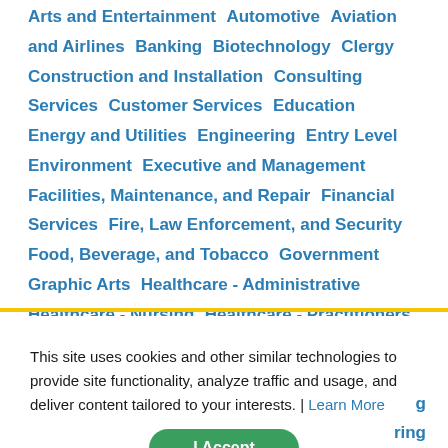Arts and Entertainment   Automotive   Aviation and Airlines   Banking   Biotechnology   Clergy   Construction and Installation   Consulting Services   Customer Services   Education   Energy and Utilities   Engineering   Entry Level   Environment   Executive and Management   Facilities, Maintenance, and Repair   Financial Services   Fire, Law Enforcement, and Security   Food, Beverage, and Tobacco   Government   Graphic Arts   Healthcare - Administrative   Healthcare - Nursing   Healthcare - Practitioners   Healthcare - Technicians
This site uses cookies and other similar technologies to provide site functionality, analyze traffic and usage, and deliver content tailored to your interests. | Learn More
I Accept
g ring